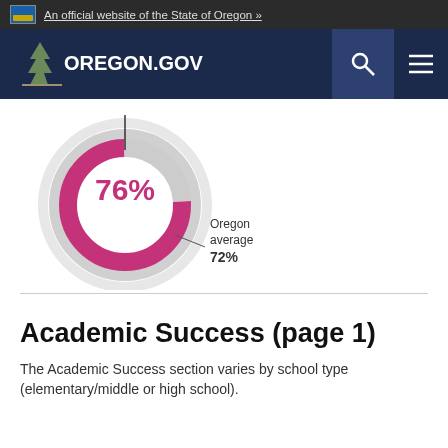An official website of the State of Oregon »
[Figure (donut-chart): Donut chart showing 76% with Oregon average of 72% indicated by a line marker]
Academic Success (page 1)
The Academic Success section varies by school type (elementary/middle or high school).